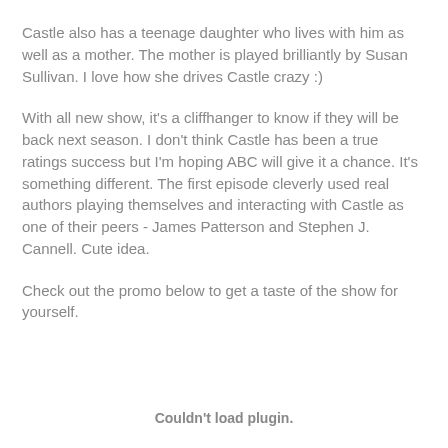Castle also has a teenage daughter who lives with him as well as a mother. The mother is played brilliantly by Susan Sullivan. I love how she drives Castle crazy :)
With all new show, it's a cliffhanger to know if they will be back next season. I don't think Castle has been a true ratings success but I'm hoping ABC will give it a chance. It's something different. The first episode cleverly used real authors playing themselves and interacting with Castle as one of their peers - James Patterson and Stephen J. Cannell. Cute idea.
Check out the promo below to get a taste of the show for yourself.
Couldn't load plugin.